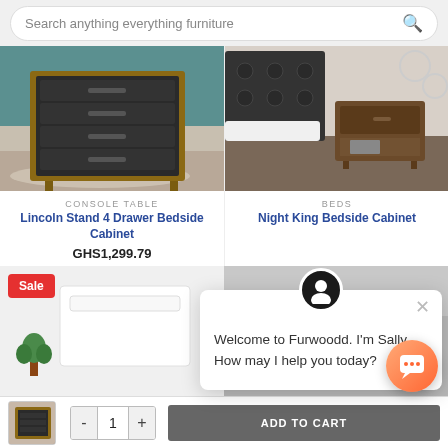[Figure (screenshot): Search bar at top with text 'Search anything everything furniture' and magnifying glass icon]
[Figure (photo): Product image: Lincoln Stand 4 Drawer Bedside Cabinet - dark grey chest of drawers with walnut frame]
CONSOLE TABLE
Lincoln Stand 4 Drawer Bedside Cabinet
GHS1,299.79
[Figure (photo): Product image: Night King Bedside Cabinet - dark wood nightstand in bedroom setting]
BEDS
Night King Bedside Cabinet
[Figure (photo): Sale item product image - white/light colored furniture]
Sale
[Figure (photo): Second bottom product image - dark furniture]
[Figure (screenshot): Chat popup from Furwoodd assistant Sally saying 'Welcome to Furwoodd. I'm Sally. How may I help you today?']
[Figure (screenshot): Footer bar with thumbnail image, quantity control (- 1 +), and ADD TO CART button]
[Figure (screenshot): Orange chat bubble button in bottom right corner]